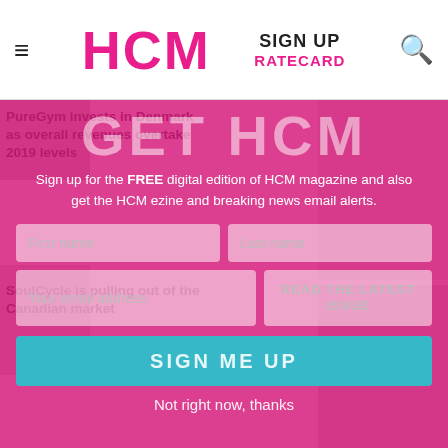HCM | SIGN UP | RATECARD
[Figure (screenshot): HCM magazine website screenshot showing navigation bar with HCM logo in pink, SIGN UP and RATECARD links, and a pink overlay modal for newsletter sign-up with GET HCM title, form fields for First name, Last name, email, and SIGN ME UP button, overlaying article headlines about PureGym and SoulCycle]
GET HCM
Sign up for the FREE digital edition of HCM magazine and also get the HCM ezine and breaking news email alerts.
First name
Last name
Your email address
READ THE LATEST ISSUE
SIGN ME UP
Not right now, thanks
PureGym invests in Denmark as overall revenues overtake 2019 levels
SoulCycle is pulling out of the Canadian market